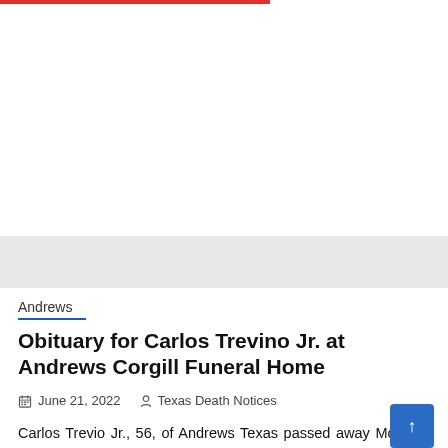Andrews
Obituary for Carlos Trevino Jr. at Andrews Corgill Funeral Home
June 21, 2022   Texas Death Notices
Carlos Trevio Jr., 56, of Andrews Texas passed away Monday, December 20th, with his family by his side.